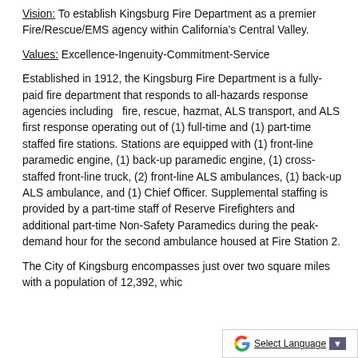Vision: To establish Kingsburg Fire Department as a premier Fire/Rescue/EMS agency within California's Central Valley.
Values: Excellence-Ingenuity-Commitment-Service
Established in 1912, the Kingsburg Fire Department is a fully-paid fire department that responds to all-hazards response agencies including   fire, rescue, hazmat, ALS transport, and ALS first response operating out of (1) full-time and (1) part-time staffed fire stations. Stations are equipped with (1) front-line paramedic engine, (1) back-up paramedic engine, (1) cross-staffed front-line truck, (2) front-line ALS ambulances, (1) back-up ALS ambulance, and (1) Chief Officer. Supplemental staffing is provided by a part-time staff of Reserve Firefighters and additional part-time Non-Safety Paramedics during the peak-demand hour for the second ambulance housed at Fire Station 2.
The City of Kingsburg encompasses just over two square miles with a population of 12,392, whic…